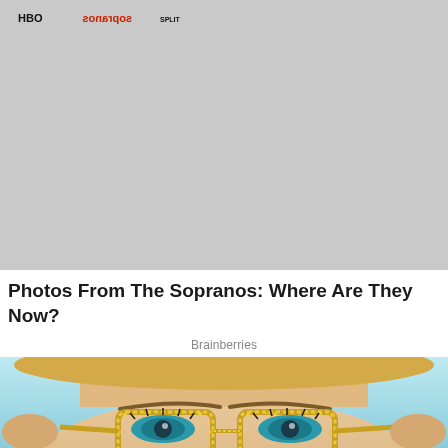[Figure (photo): Group photo of seven women posing together at a Sopranos event, standing in front of a step-and-repeat backdrop featuring HBO and Sopranos logos. Women are dressed in various outfits ranging from black to colorful attire.]
Photos From The Sopranos: Where Are They Now?
Brainberries
[Figure (photo): Close-up photo of a young woman wearing gold/yellow glitter cat-eye glasses, with teal/green eye makeup, against a light blue background. Only the upper portion of her face is visible.]